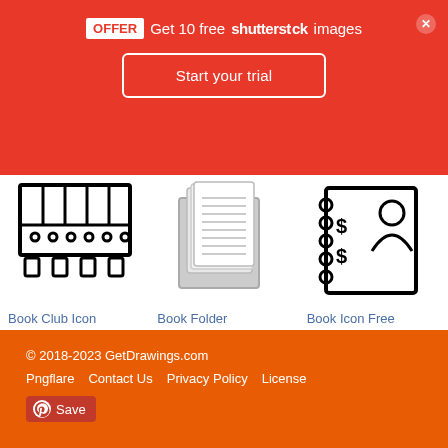OFFER  Get 10 free shutterstock images  Start your trial
[Figure (illustration): Book Club Icon - line drawing of shelving unit with books and connectors]
Book Club Icon
[Figure (illustration): Book Folder Icon - illustration of papers/documents in a folder]
Book Folder Icon
[Figure (illustration): Book Icon Free - line drawing of a contact/address book with person icon]
Book Icon Free
© 2018-2023 GetDrawings.com  Pngflare  Contact Us  Privacy Policy  License  Save